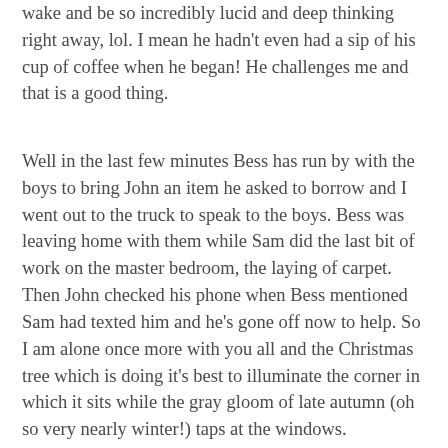wake and be so incredibly lucid and deep thinking right away, lol. I mean he hadn't even had a sip of his cup of coffee when he began! He challenges me and that is a good thing.
Well in the last few minutes Bess has run by with the boys to bring John an item he asked to borrow and I went out to the truck to speak to the boys. Bess was leaving home with them while Sam did the last bit of work on the master bedroom, the laying of carpet. Then John checked his phone when Bess mentioned Sam had texted him and he's gone off now to help. So I am alone once more with you all and the Christmas tree which is doing it's best to illuminate the corner in which it sits while the gray gloom of late autumn (oh so very nearly winter!) taps at the windows.